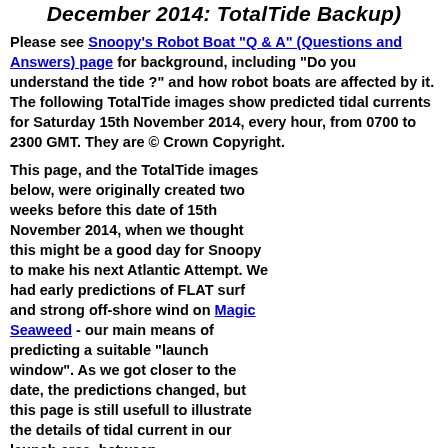December 2014: TotalTide Backup)
Please see Snoopy's Robot Boat "Q & A" (Questions and Answers) page for background, including "Do you understand the tide ?" and how robot boats are affected by it. The following TotalTide images show predicted tidal currents for Saturday 15th November 2014, every hour, from 0700 to 2300 GMT. They are © Crown Copyright.
This page, and the TotalTide images below, were originally created two weeks before this date of 15th November 2014, when we thought this might be a good day for Snoopy to make his next Atlantic Attempt. We had early predictions of FLAT surf and strong off-shore wind on Magic Seaweed - our main means of predicting a suitable "launch window". As we got closer to the date, the predictions changed, but this page is still usefull to illustrate the details of tidal current in our launch area, between...